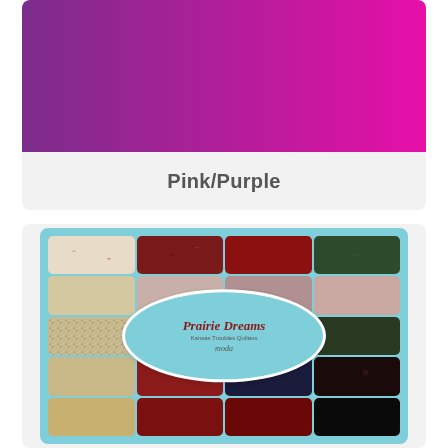[Figure (illustration): Pink to purple horizontal gradient color swatch block]
Pink/Purple
[Figure (photo): Prairie Dreams quilt fabric collection by Kansas Troubles Quilters for Moda, showing a grid of fabric swatches in dark red, navy, green, and tan tones with floral and small print patterns, overlaid with an oval label reading 'Prairie Dreams Kansas Troubles Quilters moda']